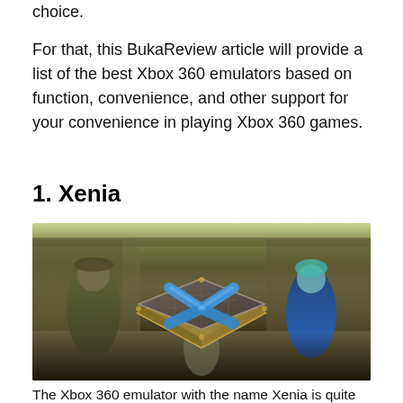choice.
For that, this BukaReview article will provide a list of the best Xbox 360 emulators based on function, convenience, and other support for your convenience in playing Xbox 360 games.
1. Xenia
[Figure (photo): Screenshot showing the Xenia Xbox 360 emulator logo (a diamond-shaped chip/processor icon with a blue X, gold/bronze border) overlaid on a blurred anime game scene with characters in the background.]
The Xbox 360 emulator with the name Xenia is quite well